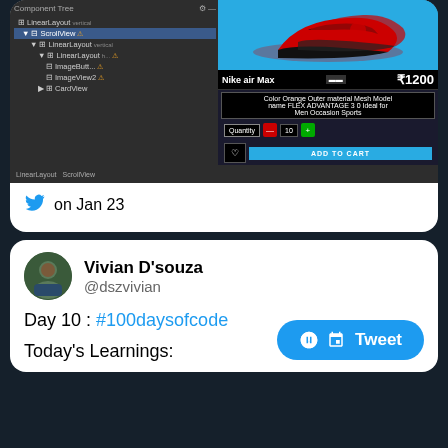[Figure (screenshot): Android Studio Component Tree panel showing LinearLayout with ScrollView hierarchy, alongside a mobile app UI showing a Nike Air Max shoe product page with price ₹1200, description, quantity selector, and Add to Cart button]
on Jan 23
Vivian D'souza @dszvivian
Day 10 : #100daysofcode
Today's Learnings: